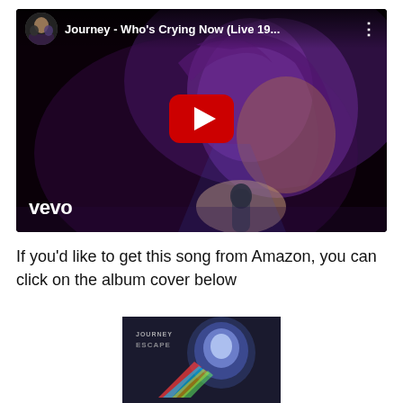[Figure (screenshot): YouTube video thumbnail for 'Journey - Who's Crying Now (Live 19...)' with vevo branding, showing a singer with microphone on a dark stage, with a red YouTube play button in the center.]
If you'd like to get this song from Amazon, you can click on the album cover below
[Figure (photo): Journey 'Escape' album cover showing a glowing orb/jellyfish on a dark background with colorful streaks and band name/title text.]